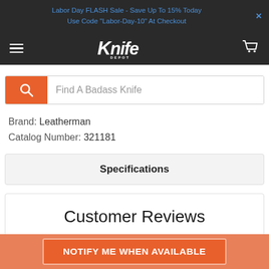Labor Day FLASH Sale - Save Up To 15% Today
Use Code "Labor-Day-10" At Checkout
[Figure (logo): Knife Depot logo with hamburger menu and cart icon on dark navigation bar]
[Figure (screenshot): Search bar with orange search button and placeholder text 'Find A Badass Knife']
Brand: Leatherman
Catalog Number: 321181
Specifications
Customer Reviews
NOTIFY ME WHEN AVAILABLE